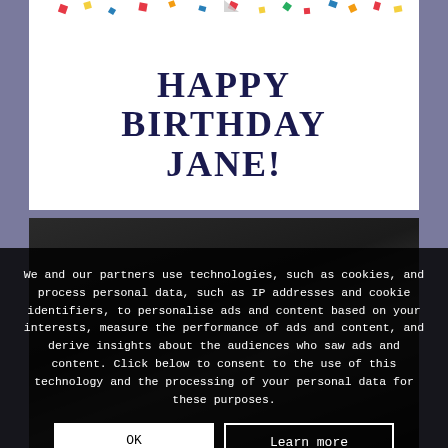[Figure (illustration): Birthday card with 'HAPPY BIRTHDAY JANE!' text in dark navy bold serif font on white background, with colorful confetti scattered around]
[Figure (photo): Dark photo partially visible, appears to show a person or object in low lighting]
We and our partners use technologies, such as cookies, and process personal data, such as IP addresses and cookie identifiers, to personalise ads and content based on your interests, measure the performance of ads and content, and derive insights about the audiences who saw ads and content. Click below to consent to the use of this technology and the processing of your personal data for these purposes.